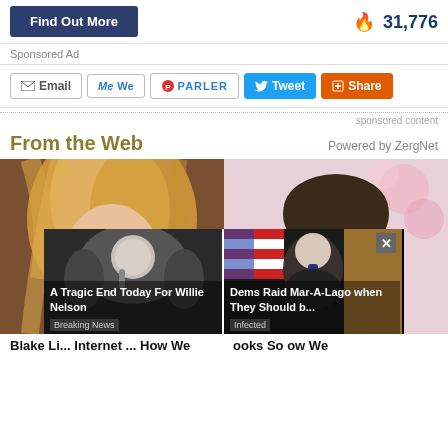Find Out More  🔥 31,776
Sponsored Ad
Email  MeWe  PARLER  Tweet  Share
sponsored content
From the Web  Powered by ZergNet
[Figure (photo): Two thumbnail photos: left shows a blonde woman smiling, right shows a young boy with blue eyes]
[Figure (screenshot): Popup overlay with two news items: 'A Tragic End Today For Willie Nelson - Breaking News' and 'Dems Raid Mar-A-Lago when They Should b... - Infected' with a close X button]
Blake Li... Internet ... How We